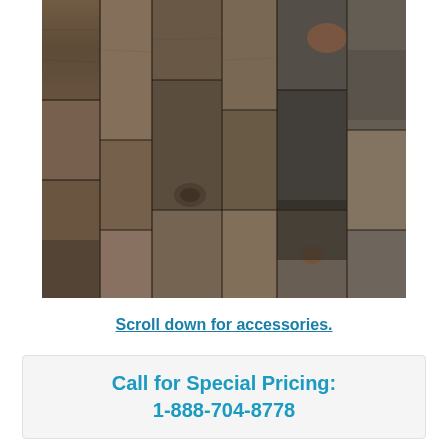[Figure (photo): Close-up photo of rustic wood plank flooring with varied brown, grey, and weathered tones showing wood grain, knots, and distressed texture in multiple plank widths.]
Scroll down for accessories.
Call for Special Pricing:
1-888-704-8778